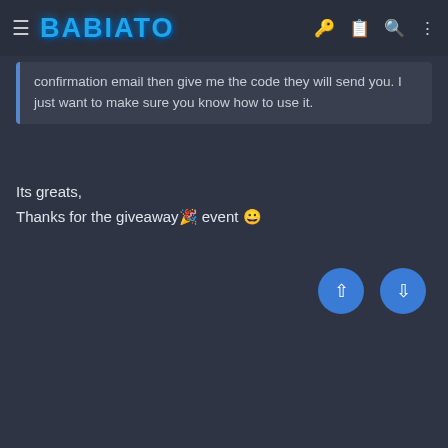BABIATO
confirmation email then give me the code they will send you. I just want to make sure you know how to use it.
Its greats,
Thanks for the giveaway🎉 event 😄